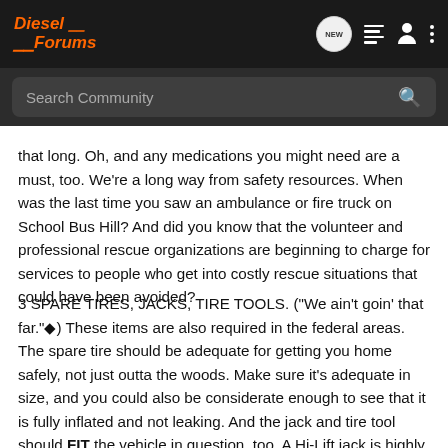Diesel Forums
Search Community
that long. Oh, and any medications you might need are a must, too. We're a long way from safety resources. When was the last time you saw an ambulance or fire truck on School Bus Hill? And did you know that the volunteer and professional rescue organizations are beginning to charge for services to people who get into costly rescue situations that could have been avoided?
3 SPARE TIRES, JACKS, TIRE TOOLS. ("We ain't goin' that far."◆) These items are also required in the federal areas. The spare tire should be adequate for getting you home safely, not just outta the woods. Make sure it's adequate in size, and you could also be considerate enough to see that it is fully inflated and not leaking. And the jack and tire tool should FIT the vehicle in question, too. A Hi-Lift jack is highly recommended.